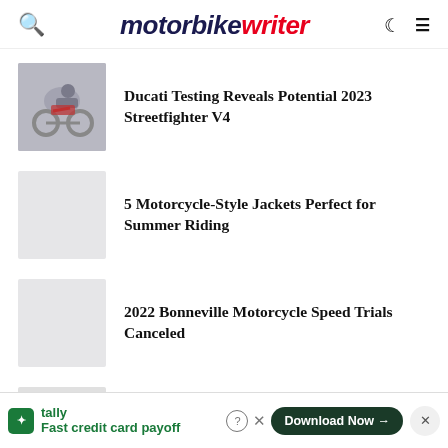motorbike writer
[Figure (photo): Thumbnail photo of a person riding a sport motorcycle (Ducati Streetfighter), side profile]
Ducati Testing Reveals Potential 2023 Streetfighter V4
[Figure (photo): Placeholder thumbnail (light grey rectangle)]
5 Motorcycle-Style Jackets Perfect for Summer Riding
[Figure (photo): Placeholder thumbnail (light grey rectangle)]
2022 Bonneville Motorcycle Speed Trials Canceled
[Figure (photo): Partially visible placeholder thumbnail at bottom]
tally
Fast credit card payoff
Download Now →